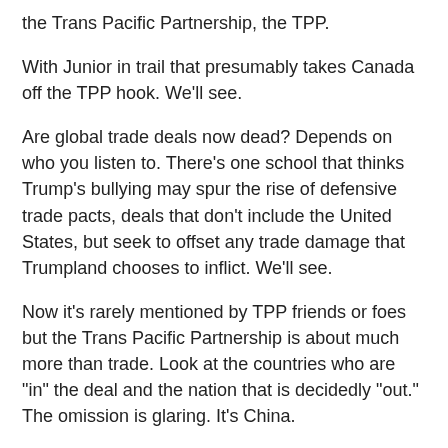the Trans Pacific Partnership, the TPP.
With Junior in trail that presumably takes Canada off the TPP hook. We'll see.
Are global trade deals now dead? Depends on who you listen to. There's one school that thinks Trump's bullying may spur the rise of defensive trade pacts, deals that don't include the United States, but seek to offset any trade damage that Trumpland chooses to inflict. We'll see.
Now it's rarely mentioned by TPP friends or foes but the Trans Pacific Partnership is about much more than trade. Look at the countries who are "in" the deal and the nation that is decidedly "out." The omission is glaring. It's China.
The TPP was always intended to isolate China, to contain China, to ostracize it from its neighbours.
This "Pacific century" seems to boil down, so far, to enforcing an already embattled TPP. Bantarto Bandoro, from the Indonesian Defense University, seemed to get closer to